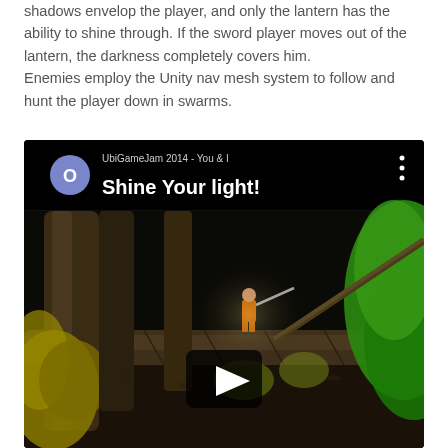shadows envelop the player, and only the lantern has the ability to shine through. If the sword player moves out of the lantern, the darkness completely covers him.
Enemies employ the Unity nav mesh system to follow and hunt the player down in swarms.
[Figure (screenshot): YouTube-style embedded video thumbnail showing a game scene from UbiGameJam 2014 - 'You & I Shine Your light!' with a dark forest environment, a character with a sword, and a play button overlay. The video header shows a circular avatar with 'O', the video title, and a three-dots menu icon.]